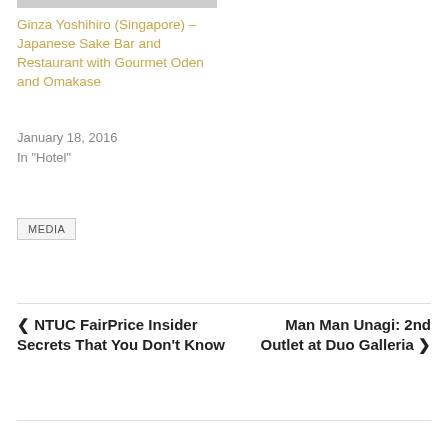[Figure (photo): Partial top edge of a food/restaurant photo]
Ginza Yoshihiro (Singapore) – Japanese Sake Bar and Restaurant with Gourmet Oden and Omakase
January 18, 2016
In "Hotel"
MEDIA
❮ NTUC FairPrice Insider Secrets That You Don't Know
Man Man Unagi: 2nd Outlet at Duo Galleria ❯